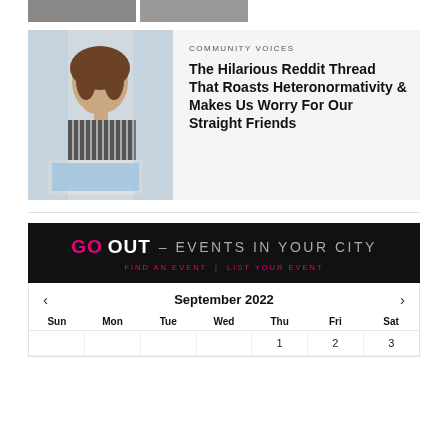[Figure (photo): Two small thumbnail images at top of page, partially cropped]
[Figure (photo): Woman sitting at laptop looking frustrated or concerned, wearing striped shirt]
COMMUNITY VOICES
The Hilarious Reddit Thread That Roasts Heteronormativity & Makes Us Worry For Our Straight Friends
[Figure (infographic): GO OUT – EVENTS IN YOUR CITY banner with FIND AN EVENT | LIST YOUR EVENT subtext on black background]
| Sun | Mon | Tue | Wed | Thu | Fri | Sat |
| --- | --- | --- | --- | --- | --- | --- |
|  |  |  |  | 1 | 2 | 3 |